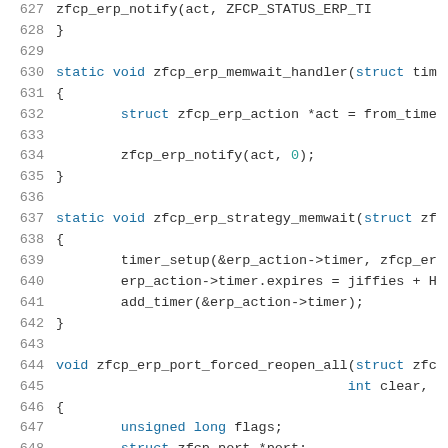[Figure (screenshot): Source code listing showing C function definitions with line numbers 627-648. Functions include zfcp_erp_memwait_handler and zfcp_erp_strategy_memwait and zfcp_erp_port_forced_reopen_all. Uses monospace font with syntax highlighting: keywords in blue, numbers in teal.]